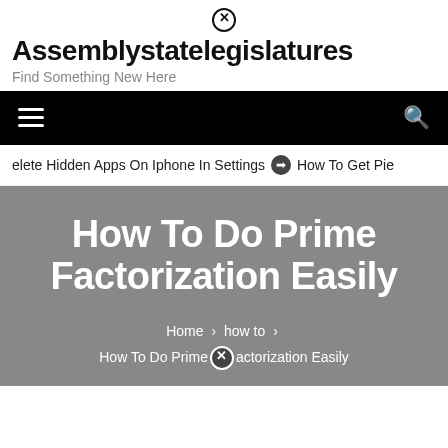Assemblystatelegislatures — Find Something New Here
elete Hidden Apps On Iphone In Settings  ➡  How To Get Pie
How To Do Prime Factorization Easily
Home > how to > How To Do Prime Factorization Easily